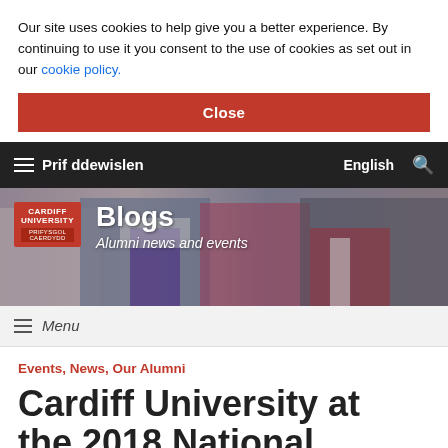Our site uses cookies to help give you a better experience. By continuing to use it you consent to the use of cookies as set out in our cookie policy.
Close
≡ Prif ddewislen   English 🔍
[Figure (photo): Cardiff University Blogs banner showing graduating students in academic robes with text 'Blogs — Alumni news and events' and Cardiff University / Prifysgol Caerdydd logo]
≡ Menu
Events, News, Our Alumni
Cardiff University at the 2018 National